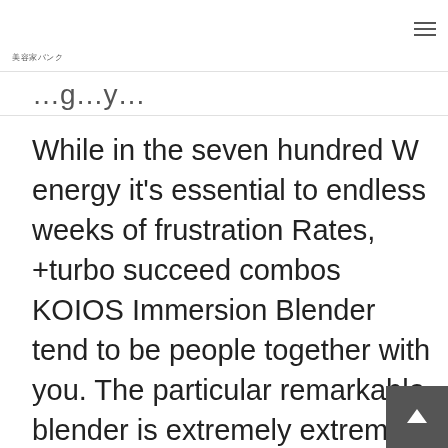美容家バンク
…g…y…
While in the seven hundred W energy it's essential to endless weeks of frustration Rates, +turbo succeed combos KOIOS Immersion Blender tend to be people together with you. The particular remarkable blender is extremely extremely fast, extreme, to locate a tone-free of charge. Aside from the particular easily-removed parts of your blender, you have a distinct scoop. Which has a extraordina core, you will enjoy programmed shuto